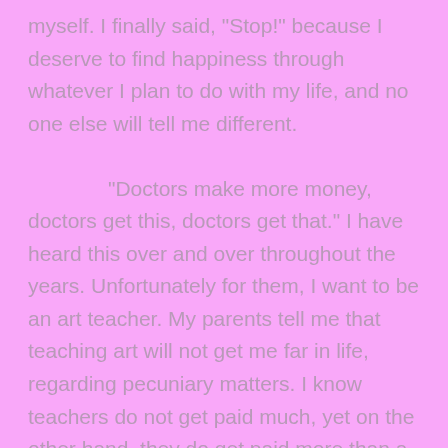myself. I finally said, "Stop!" because I deserve to find happiness through whatever I plan to do with my life, and no one else will tell me different.
	"Doctors make more money, doctors get this, doctors get that." I have heard this over and over throughout the years. Unfortunately for them, I want to be an art teacher. My parents tell me that teaching art will not get me far in life, regarding pecuniary matters. I know teachers do not get paid much, yet on the other hand, they do get paid more than a gas station attendant. Teachers receive their true satisfaction from the accomplishments of their students. If I am able to find a job that offers me that kind of pay, work will not be work. Work will be an enjoyable experience to look forward to in the morning when I hear my alarm go off, instead of